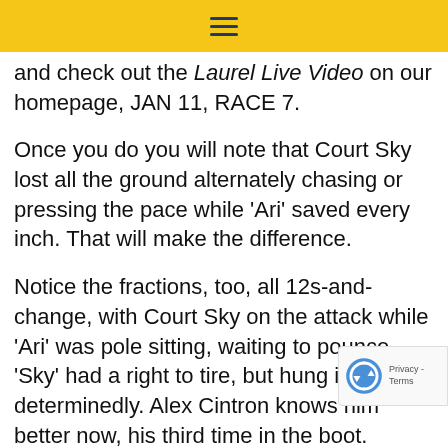≡
and check out the Laurel Live Video on our homepage, JAN 11, RACE 7.
Once you do you will note that Court Sky lost all the ground alternately chasing or pressing the pace while 'Ari' saved every inch. That will make the difference.
Notice the fractions, too, all 12s-and-change, with Court Sky on the attack while 'Ari' was pole sitting, waiting to pounce. 'Sky' had a right to tire, but hung in determinedly. Alex Cintron knows him better now, his third time in the boot.
'Ari' has drawn the rail here so a similar trip see the offing. But Court Sky in nicely positioned just